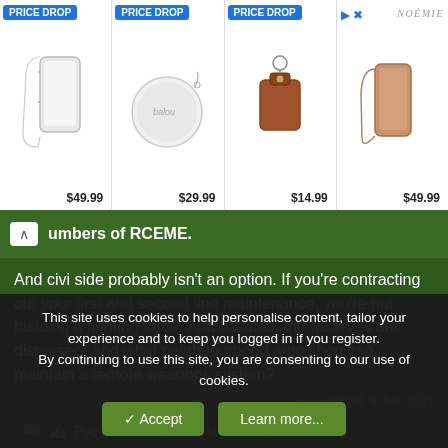[Figure (screenshot): Advertisement banner showing 4 products with PRICE DROP badges and prices: $49.99 (phone case with strap), $29.99 (round white bag), $14.99 (brown leather keychain pouch), $49.99 (phone case with strap). NOEMIE branding top right.]
umbers of RCEME.
And civi side probably isn't an option. If you're contracting out your first and second line maintenance, you're not building a fighting force. And besides, the reserves are dispersed, and what neighbourhood auto shop can maintain a remote weapons system?
Last edited: 9 Jun 2021
Eye In The Sky and blacktriangle
markppcli
This site uses cookies to help personalise content, tailor your experience and to keep you logged in if you register.
By continuing to use this site, you are consenting to our use of cookies.